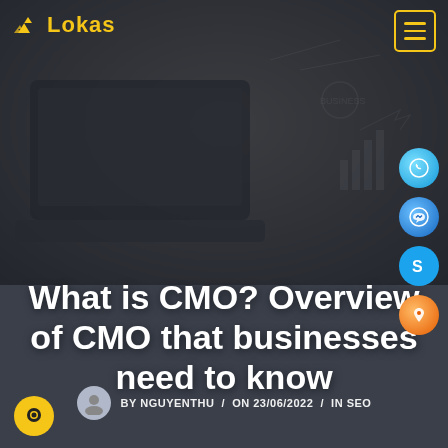[Figure (screenshot): Lokas website header showing a hero image of a laptop and business planning sketches on a desk, overlaid with dark semi-transparent filter. Includes logo, navigation menu button, social media side icons, article title, author meta bar, and chat button.]
Lokas (logo)
What is CMO? Overview of CMO that businesses need to know
BY NGUYENTHU / ON 23/06/2022 / IN SEO